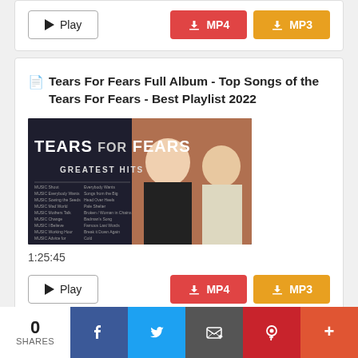[Figure (screenshot): Play button and MP4/MP3 download buttons for a previous video entry]
Tears For Fears Full Album - Top Songs of the Tears For Fears - Best Playlist 2022
[Figure (photo): Album cover thumbnail: Tears For Fears Greatest Hits, showing two band members]
1:25:45
[Figure (screenshot): Play button and MP4/MP3 download buttons]
[Figure (infographic): Share bar showing 0 SHARES, Facebook, Twitter, Email, Pinterest, More buttons]